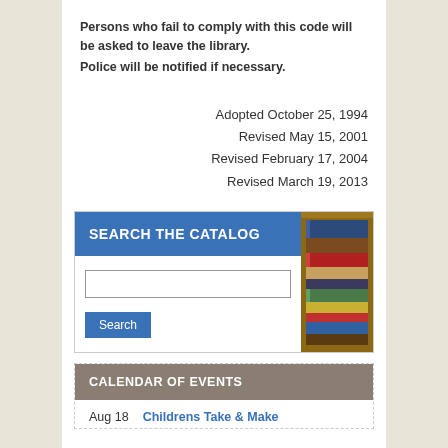Persons who fail to comply with this code will be asked to leave the library. Police will be notified if necessary.
Adopted October 25, 1994
Revised May 15, 2001
Revised February 17, 2004
Revised March 19, 2013
[Figure (screenshot): Search the Catalog widget with a blue header, text input field, Search button, and a photo of stacked books on the right side.]
[Figure (screenshot): Calendar of Events widget with a brown/taupe header. Shows Aug 18 entry: Childrens Take & Make]